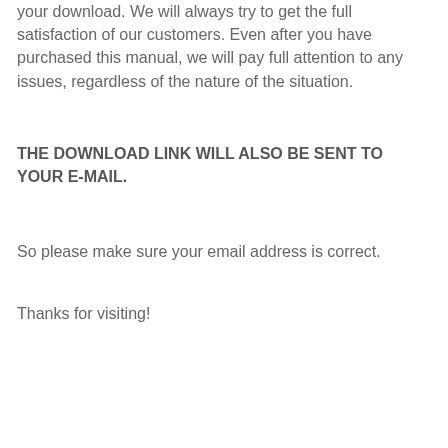your download. We will always try to get the full satisfaction of our customers. Even after you have purchased this manual, we will pay full attention to any issues, regardless of the nature of the situation.
THE DOWNLOAD LINK WILL ALSO BE SENT TO YOUR E-MAIL.
So please make sure your email address is correct.
Thanks for visiting!